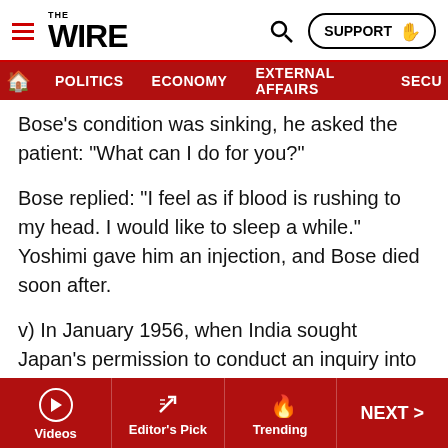THE WIRE — navigation header with POLITICS, ECONOMY, EXTERNAL AFFAIRS, SECU[RITY]
Bose’s condition was sinking, he asked the patient: “What can I do for you?”
Bose replied: “I feel as if blood is rushing to my head. I would like to sleep a while.” Yoshimi gave him an injection, and Bose died soon after.
v) In January 1956, when India sought Japan’s permission to conduct an inquiry into Netaji’s death, Japan shared another report, comprising interviews with 13 witnesses, including Netaji’s co-passengers and the doctors who attended on him in the Military Hospital in Taipei.
Among other things, the investigators noted that when the
Videos | Editor’s Pick | Trending | NEXT >